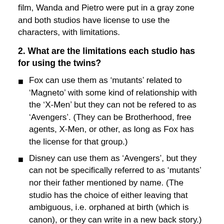film, Wanda and Pietro were put in a gray zone and both studios have license to use the characters, with limitations.
2. What are the limitations each studio has for using the twins?
Fox can use them as 'mutants' related to 'Magneto' with some kind of relationship with the 'X-Men' but they can not be refered to as 'Avengers'. (They can be Brotherhood, free agents, X-Men, or other, as long as Fox has the license for that group.)
Disney can use them as 'Avengers', but they can not be specifically referred to as 'mutants' nor their father mentioned by name. (The studio has the choice of either leaving that ambiguous, i.e. orphaned at birth (which is canon), or they can write in a new back story.)
Neither studio gets to use them as a whole.